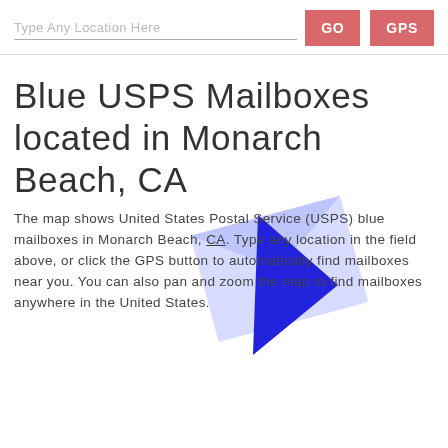Type Any Location Here | GO | GPS
Blue USPS Mailboxes located in Monarch Beach, CA
[Figure (illustration): A stylized envelope/mailbox icon with a blue triangle arrow and light blue envelope shape, tilted at an angle, overlapping the text area.]
The map shows United States Postal Service (USPS) blue mailboxes in Monarch Beach, CA. Type any location in the field above, or click the GPS button to automatically find mailboxes near you. You can also pan and zoom the map to find mailboxes anywhere in the United States.